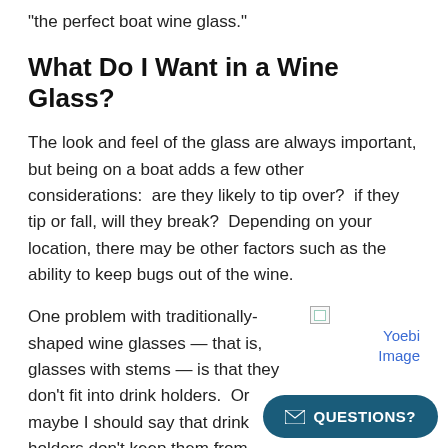“the perfect boat wine glass.”
What Do I Want in a Wine Glass?
The look and feel of the glass are always important, but being on a boat adds a few other considerations:  are they likely to tip over?  if they tip or fall, will they break?  Depending on your location, there may be other factors such as the ability to keep bugs out of the wine.
One problem with traditionally-shaped wine glasses — that is, glasses with stems — is that they don’t fit into drink holders.  Or maybe I should say that drink holders don’t keep them from tipping.  I recently ran across a drink holder insert designed for stemmed wine glasses (see photo at right) that does prevent
[Figure (photo): Yoebi Image placeholder - broken image icon with text 'Yoebi Image']